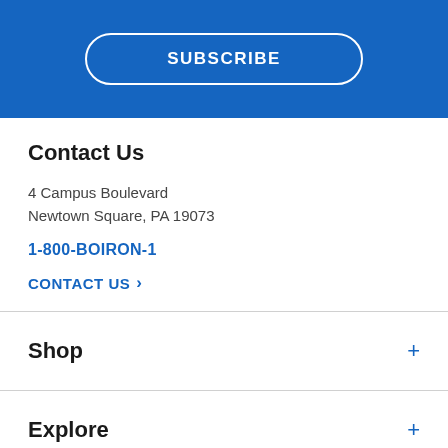[Figure (other): Blue banner with a SUBSCRIBE button styled with a white rounded border outline on a blue background]
Contact Us
4 Campus Boulevard
Newtown Square, PA 19073
1-800-BOIRON-1
CONTACT US >
Shop
Explore